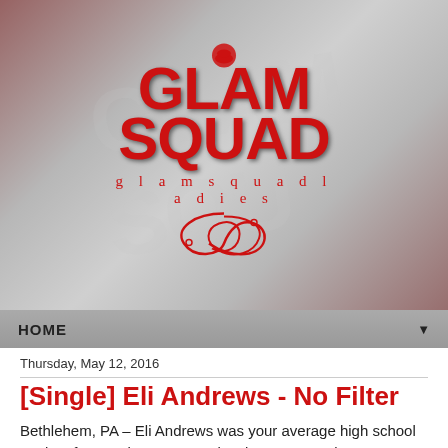[Figure (logo): Glam Squad logo with red text reading GLAM SQUAD on a grey/dark banner background with watermark text, tagline 'glamsquadladies' and decorative flourish]
HOME ▼
Thursday, May 12, 2016
[Single] Eli Andrews - No Filter
Bethlehem, PA – Eli Andrews was your average high school student from a sleepy Pennsylvania town; popular amongst friends, a baseball star, and music – while a hobby at first – had